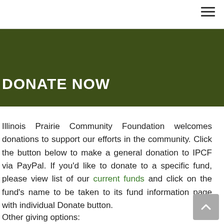DONATE NOW
Illinois Prairie Community Foundation welcomes donations to support our efforts in the community. Click the button below to make a general donation to IPCF via PayPal. If you'd like to donate to a specific fund, please view list of our current funds and click on the fund's name to be taken to its fund information page with individual Donate button.
Other giving options: